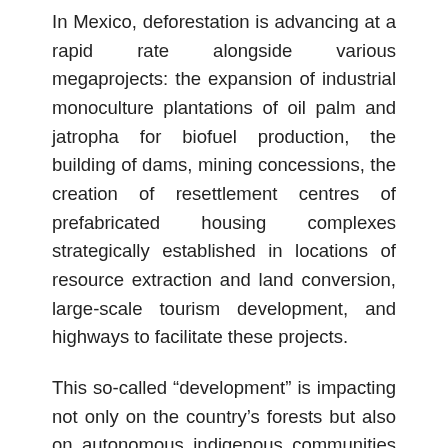In Mexico, deforestation is advancing at a rapid rate alongside various megaprojects: the expansion of industrial monoculture plantations of oil palm and jatropha for biofuel production, the building of dams, mining concessions, the creation of resettlement centres of prefabricated housing complexes strategically established in locations of resource extraction and land conversion, large-scale tourism development, and highways to facilitate these projects.
This so-called “development” is impacting not only on the country’s forests but also on autonomous indigenous communities and peasant communities whose resistance to being expelled “physically and culturally” from their lands, as they describe it, has been violently repressed, resulting in a dramatic toll of imprisonment, injuries and deaths.